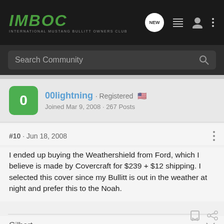[Figure (screenshot): IMBOC forum navigation bar with logo and icons]
Search Community
00lightning · Registered
Joined Mar 9, 2008 · 267 Posts
#10 · Jun 18, 2008
I ended up buying the Weathershield from Ford, which I believe is made by Covercraft for $239 + $12 shipping. I selected this cover since my Bullitt is out in the weather at night and prefer this to the Noah.
Gilbert